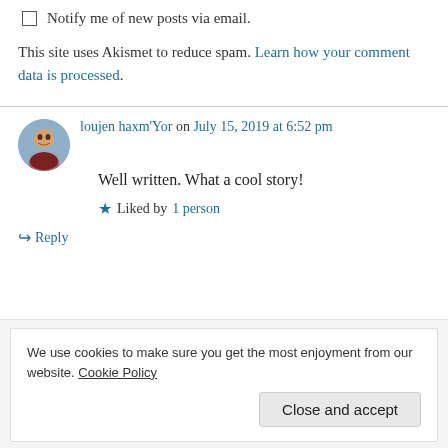Notify me of new posts via email.
This site uses Akismet to reduce spam. Learn how your comment data is processed.
loujen haxm'Yor on July 15, 2019 at 6:52 pm
Well written. What a cool story!
Liked by 1 person
Reply
We use cookies to make sure you get the most enjoyment from our website. Cookie Policy
Close and accept